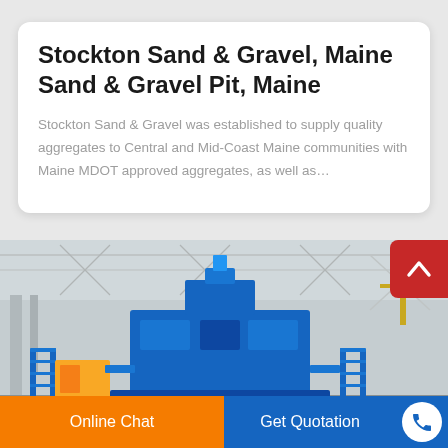Stockton Sand & Gravel, Maine Sand & Gravel Pit, Maine
Stockton Sand & Gravel was established to supply quality aggregates to Central and Mid-Coast Maine communities with Maine MDOT approved aggregates, as well as…
[Figure (photo): Industrial machinery (large blue heavy equipment/sand gravel processing machine) inside a factory warehouse with steel structure ceiling and columns.]